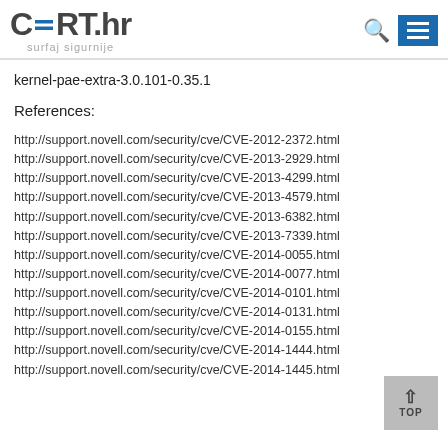CERT.hr surfaj sigurnije
kernel-pae-extra-3.0.101-0.35.1
References:
http://support.novell.com/security/cve/CVE-2012-2372.html
http://support.novell.com/security/cve/CVE-2013-2929.html
http://support.novell.com/security/cve/CVE-2013-4299.html
http://support.novell.com/security/cve/CVE-2013-4579.html
http://support.novell.com/security/cve/CVE-2013-6382.html
http://support.novell.com/security/cve/CVE-2013-7339.html
http://support.novell.com/security/cve/CVE-2014-0055.html
http://support.novell.com/security/cve/CVE-2014-0077.html
http://support.novell.com/security/cve/CVE-2014-0101.html
http://support.novell.com/security/cve/CVE-2014-0131.html
http://support.novell.com/security/cve/CVE-2014-0155.html
http://support.novell.com/security/cve/CVE-2014-1444.html
http://support.novell.com/security/cve/CVE-2014-1445.html